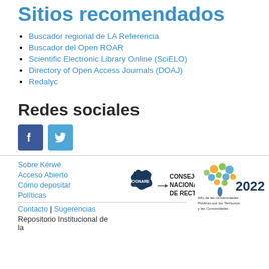Sitios recomendados
Buscador regional de LA Referencia
Buscador del Open ROAR
Scientific Electronic Library Online (SciELO)
Directory of Open Access Journals (DOAJ)
Redalyc
Redes sociales
[Figure (logo): Facebook and Twitter social media icons]
Sobre Kérwé
Acceso Abierto
Cómo depositar
Políticas
[Figure (logo): CONARE - Consejo Nacional de Rectores logo with Costa Rica map]
[Figure (logo): 2022 Año de las Universidades Públicas por los Territorios y las Comunidades badge]
Contacto | Sugerencias
Repositorio Institucional de la